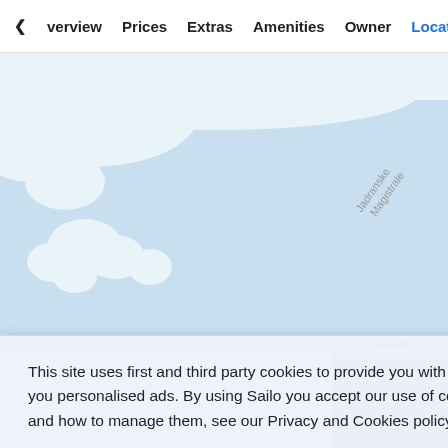verview  Prices  Extras  Amenities  Owner  Location
[Figure (map): Partial map showing coastal area with land masses in white and water in light blue. A teal/green circular location marker is visible in the center. Text 'Jadranske Magistrale' is written diagonally on the map in gray. 'Pirovac' label partially visible on the right side.]
This site uses first and third party cookies to provide you with a great user experience, measure audience and show you personalised ads. By using Sailo you accept our use of cookies. For more details about our privacy policy, cookies and how to manage them, see our Privacy and Cookies policy.
Learn more
Got it!
[Figure (photo): Photo of buildings with orange/red rooftops, partially visible on the right side of the page.]
wner